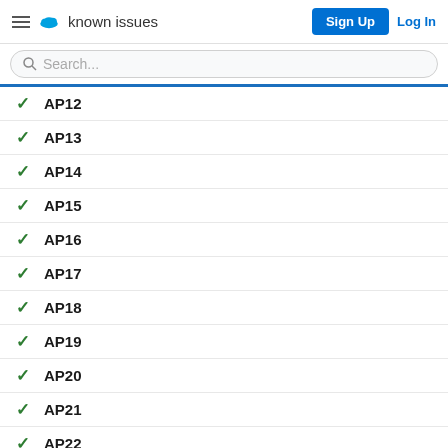known issues | Sign Up | Log In
Search...
✓ AP12
✓ AP13
✓ AP14
✓ AP15
✓ AP16
✓ AP17
✓ AP18
✓ AP19
✓ AP20
✓ AP21
✓ AP22
✓ AP24
✓ AP25
✓ AP26
✓ AP27
✓ AP28 (partial)